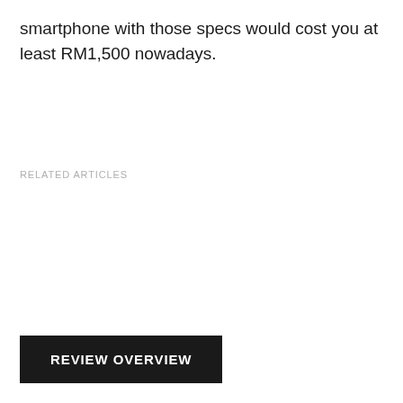smartphone with those specs would cost you at least RM1,500 nowadays.
RELATED ARTICLES
REVIEW OVERVIEW